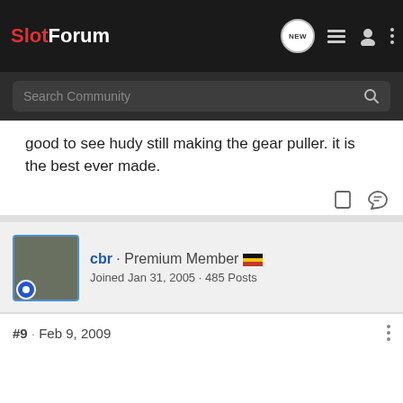SlotForum
Search Community
good to see hudy still making the gear puller. it is the best ever made.
cbr · Premium Member
Joined Jan 31, 2005 · 485 Posts
#9 · Feb 9, 2009